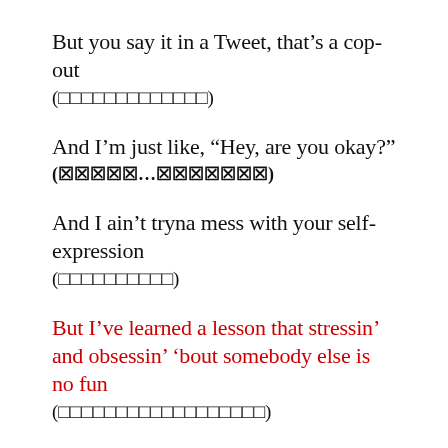But you say it in a Tweet, that’s a cop-out
(□□□□□□□□□□□□□)
And I’m just like, “Hey, are you okay?”
(☒☒☒☒☒…☒☒☒☒☒☒☒)
And I ain’t tryna mess with your self-expression
(□□□□□□□□□□)
But I’ve learned a lesson that stressin’ and obsessin’ ’bout somebody else is no fun
(□□□□□□□□□□□□□□□□□□)